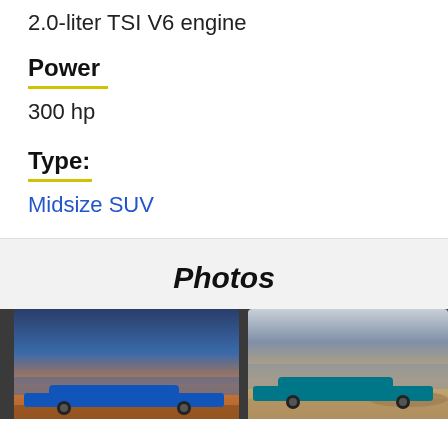2.0-liter TSI V6 engine
Power
300 hp
Type:
Midsize SUV
Photos
[Figure (photo): Two SUV cars photographed in a desert landscape, shown side by side in a dark-background strip.]